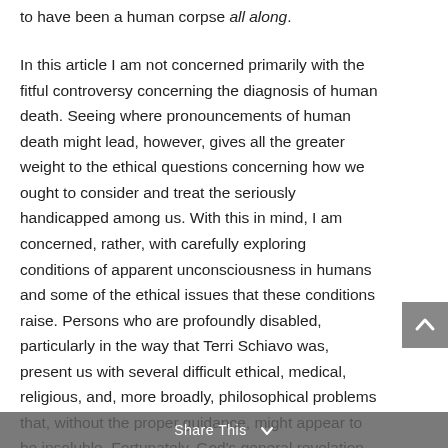to have been a human corpse all along.
In this article I am not concerned primarily with the fitful controversy concerning the diagnosis of human death. Seeing where pronouncements of human death might lead, however, gives all the greater weight to the ethical questions concerning how we ought to consider and treat the seriously handicapped among us. With this in mind, I am concerned, rather, with carefully exploring conditions of apparent unconsciousness in humans and some of the ethical issues that these conditions raise. Persons who are profoundly disabled, particularly in the way that Terri Schiavo was, present us with several difficult ethical, medical, religious, and, more broadly, philosophical problems that, without the proper guidance, might appear to be insoluble. Fortunately, God's general revelation (as found through the light of natural reason) and His special revelation (as found in the Bible) concerning how we ought to treat one another are, for all people of good will, available guides in this matter.
Share This